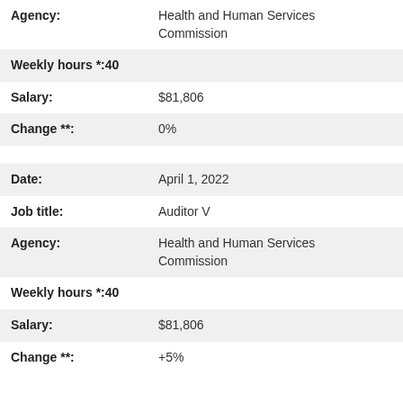| Field | Value |
| --- | --- |
| Agency: | Health and Human Services Commission |
| Weekly hours *: | 40 |
| Salary: | $81,806 |
| Change **: | 0% |
| Field | Value |
| --- | --- |
| Date: | April 1, 2022 |
| Job title: | Auditor V |
| Agency: | Health and Human Services Commission |
| Weekly hours *: | 40 |
| Salary: | $81,806 |
| Change **: | +5% |